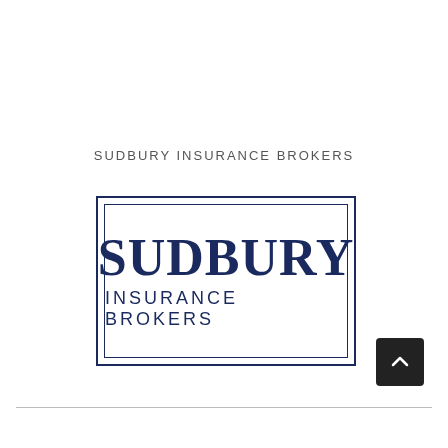SUDBURY INSURANCE BROKERS
[Figure (logo): Sudbury Insurance Brokers logo: dark navy double-bordered rectangle containing large serif text 'SUDBURY' above sans-serif text 'INSURANCE BROKERS']